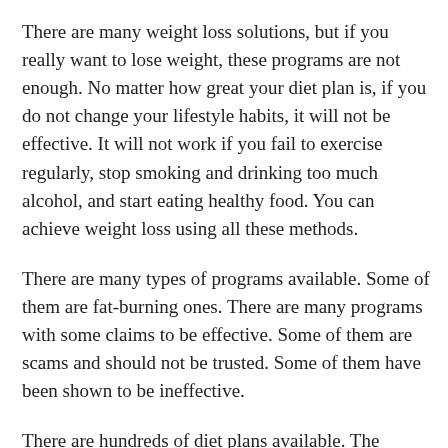There are many weight loss solutions, but if you really want to lose weight, these programs are not enough. No matter how great your diet plan is, if you do not change your lifestyle habits, it will not be effective. It will not work if you fail to exercise regularly, stop smoking and drinking too much alcohol, and start eating healthy food. You can achieve weight loss using all these methods.
There are many types of programs available. Some of them are fat-burning ones. There are many programs with some claims to be effective. Some of them are scams and should not be trusted. Some of them have been shown to be ineffective.
There are hundreds of diet plans available. The problem is that we could not even find the perfect one. They all claim to be the best way to lose weight, but not all of them are effective. In fact,